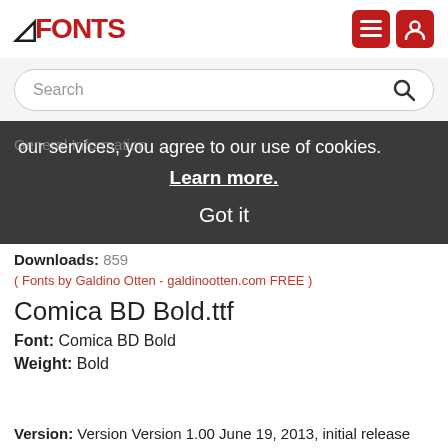FONTS
Search
our services, you agree to our use of cookies. Learn more. Got it
General Information
Downloads: 859
( Fonts by Galdino Otten - galdinootten.com FREE )
Comica BD Bold.ttf
Font: Comica BD Bold
Weight: Bold
Version: Version Version 1.00 June 19, 2013, initial release